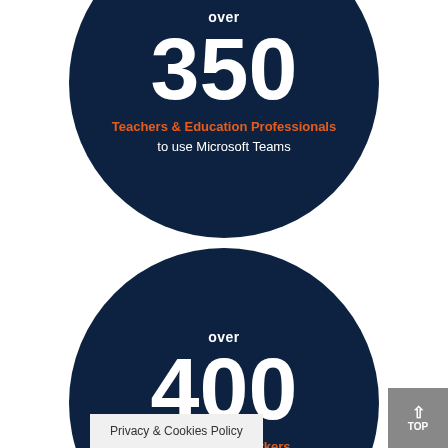[Figure (infographic): Dark navy circular infographic showing 'over 350 Teachers & Education Professionals to use Microsoft Teams']
[Figure (infographic): Dark navy circular infographic showing 'over 400 NHS and key workers to use [Microsoft Teams]' - partially cropped]
Privacy & Cookies Policy